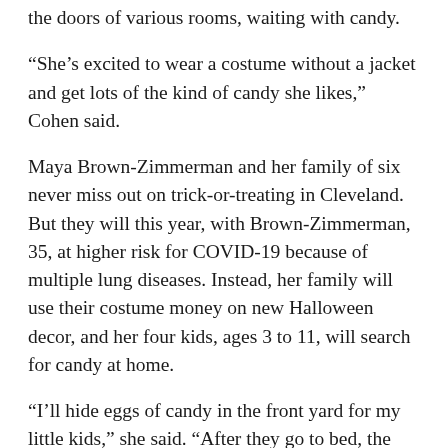the doors of various rooms, waiting with candy.
“She’s excited to wear a costume without a jacket and get lots of the kind of candy she likes,” Cohen said.
Maya Brown-Zimmerman and her family of six never miss out on trick-or-treating in Cleveland. But they will this year, with Brown-Zimmerman, 35, at higher risk for COVID-19 because of multiple lung diseases. Instead, her family will use their costume money on new Halloween decor, and her four kids, ages 3 to 11, will search for candy at home.
“I’ll hide eggs of candy in the front yard for my little kids,” she said. “After they go to bed, the older kids will have a hunt for eggs in the dark in our backyard with flashlights.”
For families still hoping to trick-or-treat this year,